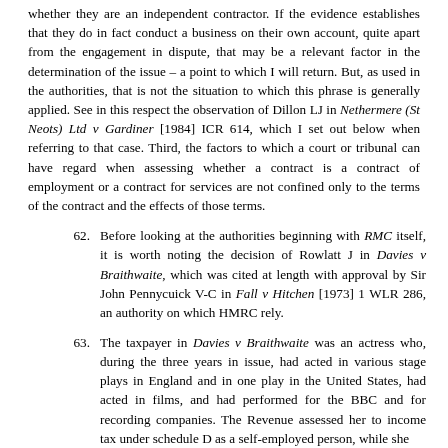whether they are an independent contractor. If the evidence establishes that they do in fact conduct a business on their own account, quite apart from the engagement in dispute, that may be a relevant factor in the determination of the issue – a point to which I will return. But, as used in the authorities, that is not the situation to which this phrase is generally applied. See in this respect the observation of Dillon LJ in Nethermere (St Neots) Ltd v Gardiner [1984] ICR 614, which I set out below when referring to that case. Third, the factors to which a court or tribunal can have regard when assessing whether a contract is a contract of employment or a contract for services are not confined only to the terms of the contract and the effects of those terms.
62. Before looking at the authorities beginning with RMC itself, it is worth noting the decision of Rowlatt J in Davies v Braithwaite, which was cited at length with approval by Sir John Pennycuick V-C in Fall v Hitchen [1973] 1 WLR 286, an authority on which HMRC rely.
63. The taxpayer in Davies v Braithwaite was an actress who, during the three years in issue, had acted in various stage plays in England and in one play in the United States, had acted in films, and had performed for the BBC and for recording companies. The Revenue assessed her to income tax under schedule D as a self-employed person, while she